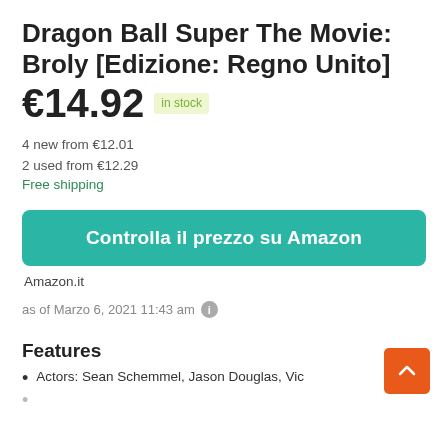Dragon Ball Super The Movie: Broly [Edizione: Regno Unito]
€14.92  in stock
4 new from €12.01
2 used from €12.29
Free shipping
Controlla il prezzo su Amazon
Amazon.it
as of Marzo 6, 2021 11:43 am
Features
Actors: Sean Schemmel, Jason Douglas, Vic